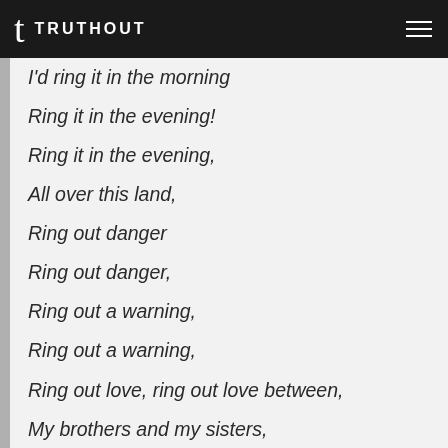TRUTHOUT
I'd ring it in the morning
Ring it in the evening!
Ring it in the evening,
All over this land,
Ring out danger
Ring out danger,
Ring out a warning,
Ring out a warning,
Ring out love, ring out love between,
My brothers and my sisters,